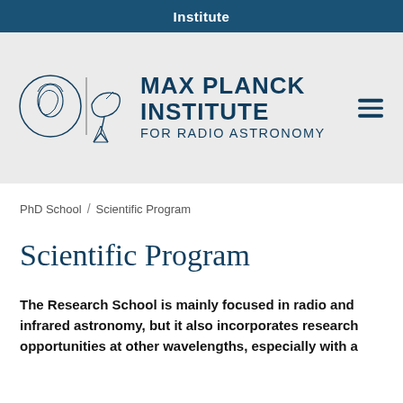Institute
[Figure (logo): Max Planck Institute for Radio Astronomy logo with a classical figure medallion and a radio telescope dish icon, followed by the institute name text]
PhD School / Scientific Program
Scientific Program
The Research School is mainly focused in radio and infrared astronomy, but it also incorporates research opportunities at other wavelengths, especially with a